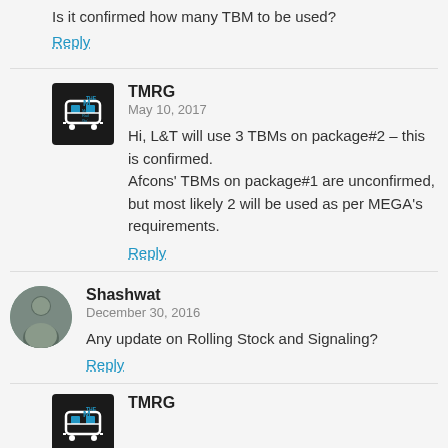Is it confirmed how many TBM to be used?
Reply
TMRG
May 10, 2017
Hi, L&T will use 3 TBMs on package#2 – this is confirmed.
Afcons' TBMs on package#1 are unconfirmed, but most likely 2 will be used as per MEGA's requirements.
Reply
Shashwat
December 30, 2016
Any update on Rolling Stock and Signaling?
Reply
TMRG